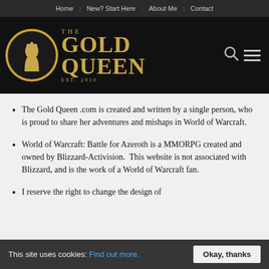Home | New? Start Here | About Me | Contact
[Figure (logo): The Gold Queen website logo: gold coin with queen silhouette on left, gold serif text reading THE GOLD QUEEN EST. 2010 on right, search and hamburger menu icons on far right, on dark/black background.]
The Gold Queen .com is created and written by a single person, who is proud to share her adventures and mishaps in World of Warcraft.
World of Warcraft: Battle for Azeroth is a MMORPG created and owned by Blizzard-Activision.  This website is not associated with Blizzard, and is the work of a World of Warcraft fan.
I reserve the right to change the design of www.thegoldqueen.com, including adding new pages and posts from time to time, and editing posts after
This site uses cookies: Find out more.  Okay, thanks